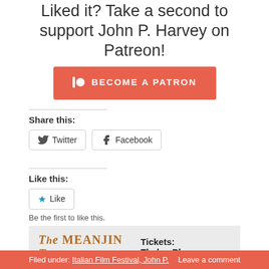Liked it? Take a second to support John P. Harvey on Patreon!
[Figure (logo): Patreon 'Become a Patron' button in orange/coral color with Patreon logo]
Share this:
[Figure (infographic): Twitter and Facebook share buttons with icons]
Like this:
[Figure (infographic): Like button with star icon]
Be the first to like this.
[Figure (infographic): The Meanjin Tour banner - Tickets: ThelmaPlum.com]
Filed under: Italian Film Festival, John P.    Leave a comment